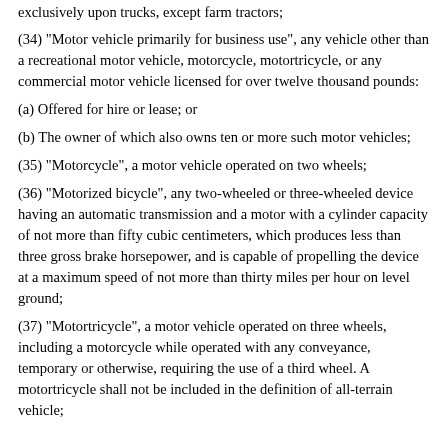exclusively upon trucks, except farm tractors;
(34) "Motor vehicle primarily for business use", any vehicle other than a recreational motor vehicle, motorcycle, motortricycle, or any commercial motor vehicle licensed for over twelve thousand pounds:
(a) Offered for hire or lease; or
(b) The owner of which also owns ten or more such motor vehicles;
(35) "Motorcycle", a motor vehicle operated on two wheels;
(36) "Motorized bicycle", any two-wheeled or three-wheeled device having an automatic transmission and a motor with a cylinder capacity of not more than fifty cubic centimeters, which produces less than three gross brake horsepower, and is capable of propelling the device at a maximum speed of not more than thirty miles per hour on level ground;
(37) "Motortricycle", a motor vehicle operated on three wheels, including a motorcycle while operated with any conveyance, temporary or otherwise, requiring the use of a third wheel. A motortricycle shall not be included in the definition of all-terrain vehicle;